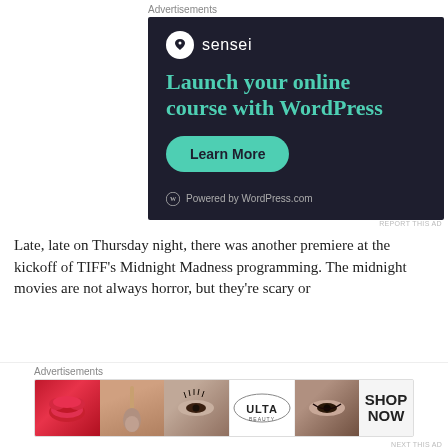Advertisements
[Figure (illustration): Sensei advertisement banner with dark navy background. Shows Sensei logo (tree icon in white circle) and brand name, headline 'Launch your online course with WordPress' in teal/green color, a 'Learn More' button in teal, and 'Powered by WordPress.com' footer text.]
REPORT THIS AD
Late, late on Thursday night, there was another premiere at the kickoff of TIFF's Midnight Madness programming. The midnight movies are not always horror, but they're scary or
Advertisements
[Figure (photo): Ulta Beauty advertisement strip showing close-up images of lips with red lipstick, makeup brush, eye with dramatic makeup, Ulta Beauty logo, eye with dark makeup, and 'SHOP NOW' text on gray background.]